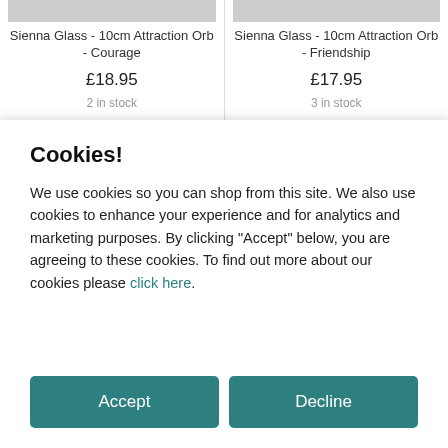Sienna Glass - 10cm Attraction Orb - Courage
£18.95
2 in stock
Sienna Glass - 10cm Attraction Orb - Friendship
£17.95
3 in stock
Cookies!
We use cookies so you can shop from this site. We also use cookies to enhance your experience and for analytics and marketing purposes. By clicking "Accept" below, you are agreeing to these cookies. To find out more about our cookies please click here.
Accept
Decline